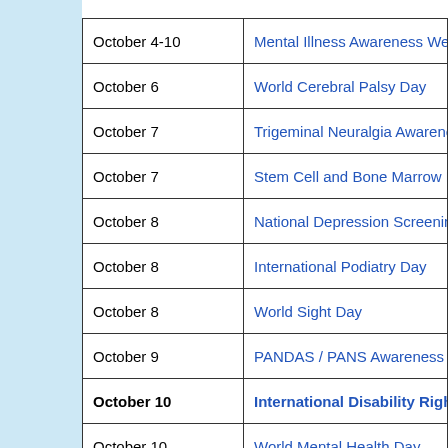| Date | Event |
| --- | --- |
| October 4-10 | Mental Illness Awareness Week |
| October 6 | World Cerebral Palsy Day |
| October 7 | Trigeminal Neuralgia Awareness |
| October 7 | Stem Cell and Bone Marrow Reg... |
| October 8 | National Depression Screening D... |
| October 8 | International Podiatry Day |
| October 8 | World Sight Day |
| October 9 | PANDAS / PANS Awareness Da... |
| October 10 | International Disability Rights |
| October 10 | World Mental Health Day |
| October 10 | Virtual Walk to End Lupus |
| October 11-17 | OCD Awareness Week |
| October 13 | Metastatic Breast Cancer Aware... |